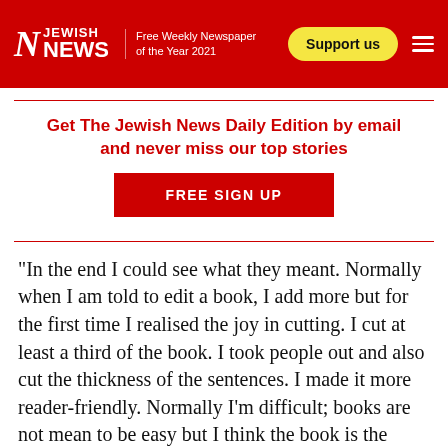Jewish News — Free Weekly Newspaper of the Year 2021
Get The Jewish News Daily Edition by email and never miss our top stories
FREE SIGN UP
“In the end I could see what they meant. Normally when I am told to edit a book, I add more but for the first time I realised the joy in cutting. I cut at least a third of the book. I took people out and also cut the thickness of the sentences. I made it more reader-friendly. Normally I’m difficult; books are not mean to be easy but I think the book is the better for it. I